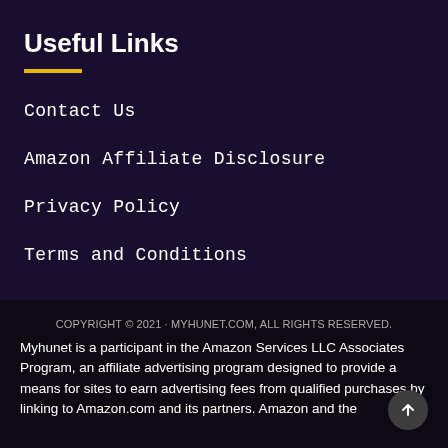Useful Links
Contact Us
Amazon Affiliate Disclosure
Privacy Policy
Terms and Conditions
COPYRIGHT © 2021 · MYHUNET.COM, ALL RIGHTS RESERVED.
Myhunet is a participant in the Amazon Services LLC Associates Program, an affiliate advertising program designed to provide a means for sites to earn advertising fees from qualified purchases by linking to Amazon.com and its partners. Amazon and the